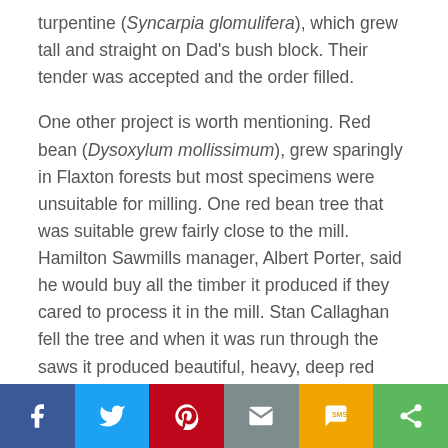turpentine (Syncarpia glomulifera), which grew tall and straight on Dad's bush block. Their tender was accepted and the order filled.
One other project is worth mentioning. Red bean (Dysoxylum mollissimum), grew sparingly in Flaxton forests but most specimens were unsuitable for milling. One red bean tree that was suitable grew fairly close to the mill. Hamilton Sawmills manager, Albert Porter, said he would buy all the timber it produced if they cared to process it in the mill. Stan Callaghan fell the tree and when it was run through the saws it produced beautiful, heavy, deep red
Social share bar: Facebook, Twitter, Pinterest, Email, SMS, Share